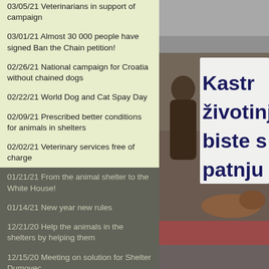03/05/21 Veterinarians in support of campaign
03/01/21 Almost 30 000 people have signed Ban the Chain petition!
02/26/21 National campaign for Croatia without chained dogs
02/22/21 World Dog and Cat Spay Day
02/09/21 Prescribed better conditions for animals in shelters
02/02/21 Veterinary services free of charge
01/21/21 From the animal shelter to the White House!
01/14/21 New year new rules
12/21/20 Help the animals in the shelters by helping them
12/15/20 Meeting on solution for Shelter Dumovec
11/26/20 Dogs are suffering, inspection sees nothing wrong
11/02/20 Ban on firecrackers in Parliament!
10/31/20 Neutered dogs are...
[Figure (photo): Gray surface / pavement photo]
[Figure (photo): Sign with Croatian text 'Kastrir životinj biste s patnju' partially visible, person holding sign, dog in foreground]
[Figure (photo): Bottom photo, partially visible]
This page is using cookies to provide you better user experience and functionality. Find out more here.